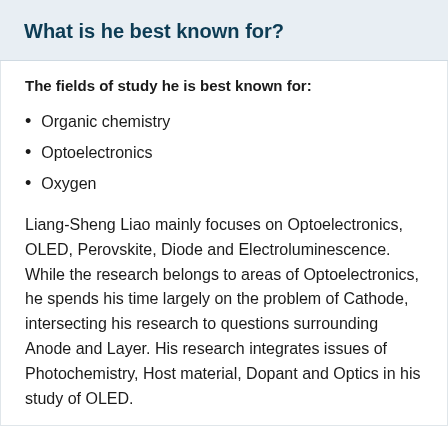What is he best known for?
The fields of study he is best known for:
Organic chemistry
Optoelectronics
Oxygen
Liang-Sheng Liao mainly focuses on Optoelectronics, OLED, Perovskite, Diode and Electroluminescence. While the research belongs to areas of Optoelectronics, he spends his time largely on the problem of Cathode, intersecting his research to questions surrounding Anode and Layer. His research integrates issues of Photochemistry, Host material, Dopant and Optics in his study of OLED.